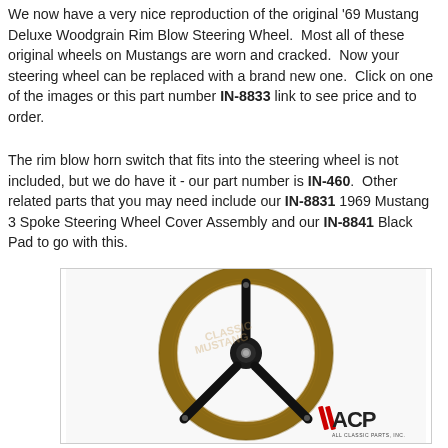We now have a very nice reproduction of the original '69 Mustang Deluxe Woodgrain Rim Blow Steering Wheel.  Most all of these original wheels on Mustangs are worn and cracked.  Now your steering wheel can be replaced with a brand new one.  Click on one of the images or this part number IN-8833 link to see price and to order.
The rim blow horn switch that fits into the steering wheel is not included, but we do have it - our part number is IN-460.  Other related parts that you may need include our IN-8831 1969 Mustang 3 Spoke Steering Wheel Cover Assembly and our IN-8841 Black Pad to go with this.
[Figure (photo): Photo of a 1969 Mustang Deluxe Woodgrain Rim Blow Steering Wheel reproduction with a brown woodgrain rim and black 3-spoke center, with an ACP (All Classic Parts, Inc.) logo watermark in the bottom right corner.]